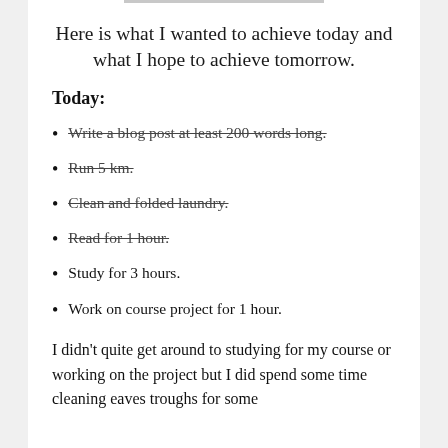Here is what I wanted to achieve today and what I hope to achieve tomorrow.
Today:
Write a blog post at least 200 words long.
Run 5 km.
Clean and folded laundry.
Read for 1 hour.
Study for 3 hours.
Work on course project for 1 hour.
I didn't quite get around to studying for my course or working on the project but I did spend some time cleaning eaves troughs for some